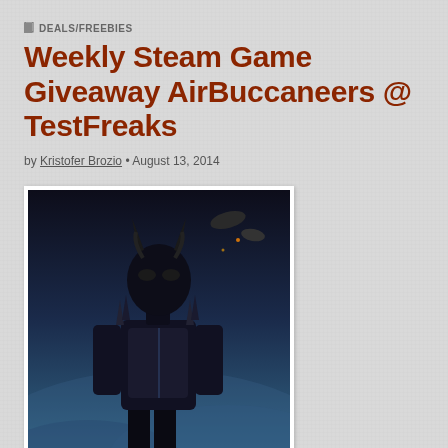DEALS/FREEBIES
Weekly Steam Game Giveaway AirBuccaneers @ TestFreaks
by Kristofer Brozio • August 13, 2014
[Figure (photo): AirBuccaneers game cover art showing a dark armored figure with horned mask against a blue atmospheric background, with the text 'AirBuccaneers' overlaid]
New giveaway this week for you..